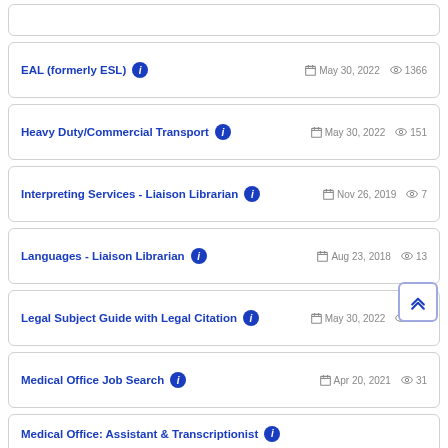EAL (formerly ESL) — May 30, 2022 — 1366 views
Heavy Duty/Commercial Transport — May 30, 2022 — 151 views
Interpreting Services - Liaison Librarian — Nov 26, 2019 — 7 views
Languages - Liaison Librarian — Aug 23, 2018 — 13 views
Legal Subject Guide with Legal Citation — May 30, 2022 — 528 views
Medical Office Job Search — Apr 20, 2021 — 31 views
Medical Office: Assistant & Transcriptionist — May 30, 2022 — 44 views